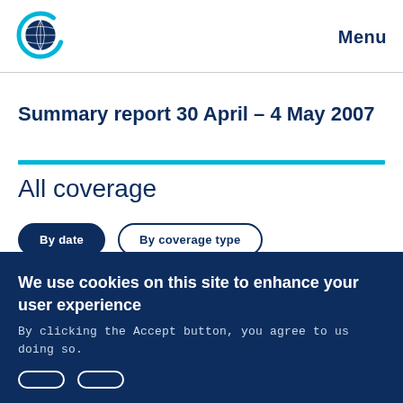[Figure (logo): Circular globe logo with dark navy and cyan blue colors representing an international organization]
Menu
Summary report 30 April – 4 May 2007
All coverage
By date
By coverage type
We use cookies on this site to enhance your user experience
By clicking the Accept button, you agree to us doing so.